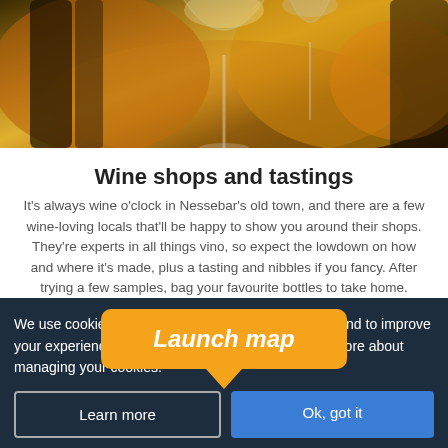[Figure (photo): Photo of wine glasses with warm bokeh background, amber and golden tones]
Wine shops and tastings
It's always wine o'clock in Nessebar's old town, and there are a few wine-loving locals that'll be happy to show you around their shops. They're experts in all things vino, so expect the lowdown on how and where it's made, plus a tasting and nibbles if you fancy. After trying a few samples, bag your favourite bottles to take home.
[Figure (other): Orange 'Launch map' button with speech bubble arrow pointing down]
We use cookies to understand how you use our site and to improve your experience. Click 'Ok, got it' to accept or learn more about managing your cookies.
Learn more
Ok, got it